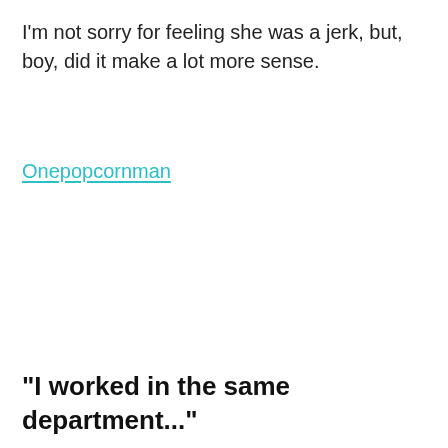I'm not sorry for feeling she was a jerk, but, boy, did it make a lot more sense.
Onepopcornman
"I worked in the same department..."